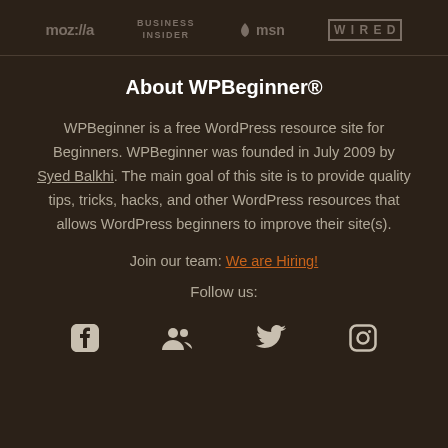[Figure (logo): Row of logos: mozilla, BUSINESS INSIDER, msn, WIRED]
About WPBeginner®
WPBeginner is a free WordPress resource site for Beginners. WPBeginner was founded in July 2009 by Syed Balkhi. The main goal of this site is to provide quality tips, tricks, hacks, and other WordPress resources that allows WordPress beginners to improve their site(s).
Join our team: We are Hiring!
Follow us:
[Figure (illustration): Social media icons: Facebook, Groups/Users, Twitter, Instagram]